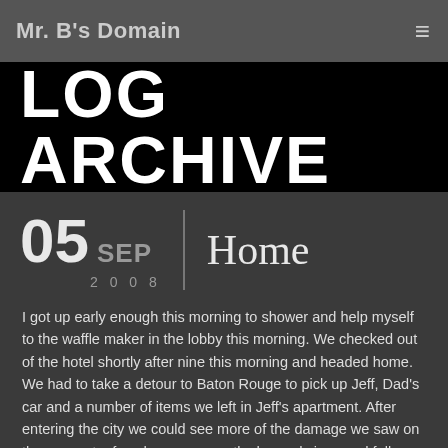Mr. B's Domain
LOG ARCHIVE
05 SEP 2008 | Home
I got up early enough this morning to shower and help myself to the waffle maker in the lobby this morning. We checked out of the hotel shortly after nine this morning and headed home. We had to take a detour to Baton Rouge to pick up Jeff, Dad's car and a number of items we left in Jeff's apartment. After entering the city we could see more of the damage we saw on the way out a few days ago, mostly downed signs and fallen trees that occasionally landed on houses. After getting the cars